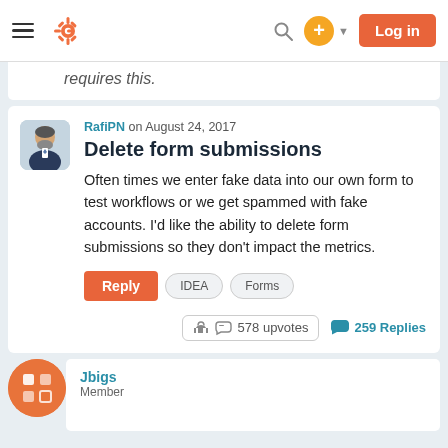HubSpot Community — Navigation bar with logo, search, and Log in button
requires this.
Delete form submissions
RafiPN on August 24, 2017
Often times we enter fake data into our own form to test workflows or we get spammed with fake accounts. I'd like the ability to delete form submissions so they don't impact the metrics.
Reply  IDEA  Forms
578 upvotes   259 Replies
Jbigs
Member